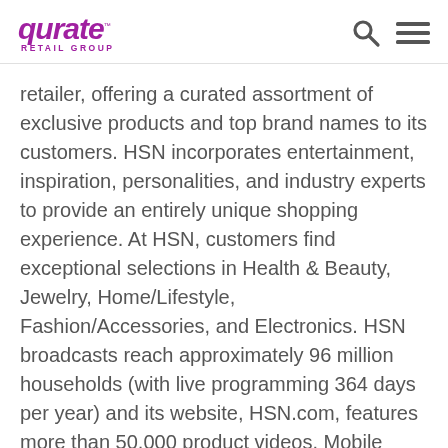Qurate Retail Group
retailer, offering a curated assortment of exclusive products and top brand names to its customers. HSN incorporates entertainment, inspiration, personalities, and industry experts to provide an entirely unique shopping experience. At HSN, customers find exceptional selections in Health & Beauty, Jewelry, Home/Lifestyle, Fashion/Accessories, and Electronics. HSN broadcasts reach approximately 96 million households (with live programming 364 days per year) and its website, HSN.com, features more than 50,000 product videos. Mobile applications include HSN apps for iPad, iPhone, and Android. HSN was founded over 40 years ago as the first shopping network. To learn more, visit corporate.hsn.com, follow @HSN on Facebook, Instagram, or Twitter, or follow HSN on Pinterest, YouTube,